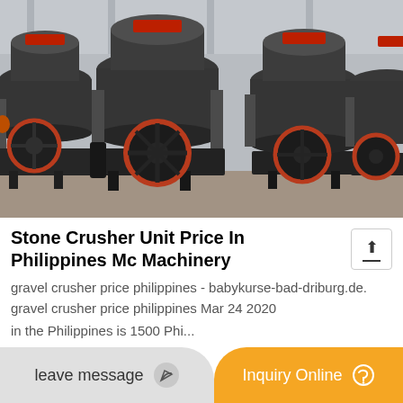[Figure (photo): Multiple large stone crusher / cone crusher machines lined up in a warehouse or factory floor. The machines are dark gray/black with red-trimmed flywheel wheels and orange accent components. Industrial heavy machinery.]
Stone Crusher Unit Price In Philippines Mc Machinery
gravel crusher price philippines - babykurse-bad-driburg.de. gravel crusher price philippines Mar 24 2020
in the Philippines is 1500 Phi...